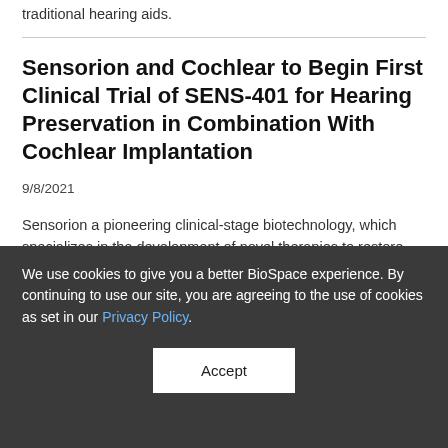traditional hearing aids.
Sensorion and Cochlear to Begin First Clinical Trial of SENS-401 for Hearing Preservation in Combination With Cochlear Implantation
9/8/2021
Sensorion a pioneering clinical-stage biotechnology, which specializes in the development of novel therapies to restore, treat and prevent within the field of hearing loss disorders, and Cochlear Limited, the global leader in
We use cookies to give you a better BioSpace experience. By continuing to use our site, you are agreeing to the use of cookies as set in our Privacy Policy.
Accept